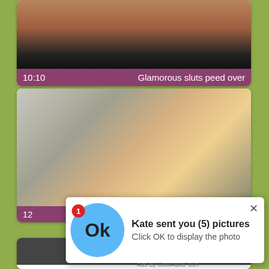[Figure (screenshot): Video thumbnail card showing a dark image with a purple bar at bottom showing duration 10:10 and title 'Glamorous sluts peed over']
[Figure (screenshot): Video thumbnail card showing a blonde woman with sunglasses outdoors, with a notification popup overlay. Popup shows blue circle with 'Ok', badge '1', title 'Kate sent you (5) pictures', subtitle 'Click OK to display the photo', close X button, and 'Ads By ClickAdilla a1h' attribution.]
[Figure (screenshot): Partial third video card at bottom of page, showing dark thumbnail]